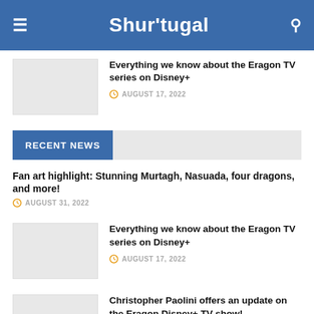Shur'tugal
Everything we know about the Eragon TV series on Disney+
AUGUST 17, 2022
RECENT NEWS
Fan art highlight: Stunning Murtagh, Nasuada, four dragons, and more!
AUGUST 31, 2022
Everything we know about the Eragon TV series on Disney+
AUGUST 17, 2022
Christopher Paolini offers an update on the Eragon Disney+ TV show!
JULY 28, 2022